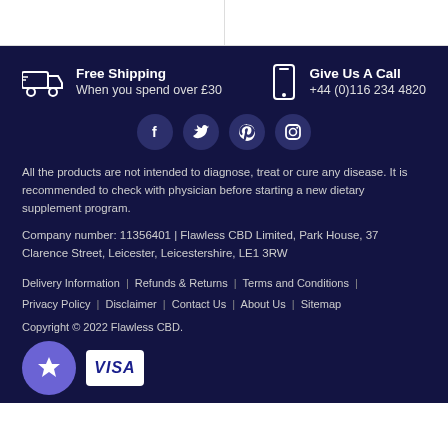Free Shipping | When you spend over £30 | Give Us A Call | +44 (0)116 234 4820
[Figure (infographic): Social media icons: Facebook, Twitter, Pinterest, Instagram]
All the products are not intended to diagnose, treat or cure any disease. It is recommended to check with physician before starting a new dietary supplement program.
Company number: 11356401 | Flawless CBD Limited, Park House, 37 Clarence Street, Leicester, Leicestershire, LE1 3RW
Delivery Information | Refunds & Returns | Terms and Conditions | Privacy Policy | Disclaimer | Contact Us | About Us | Sitemap
Copyright © 2022 Flawless CBD.
[Figure (logo): Star badge (purple circle with white star) and VISA logo badge]